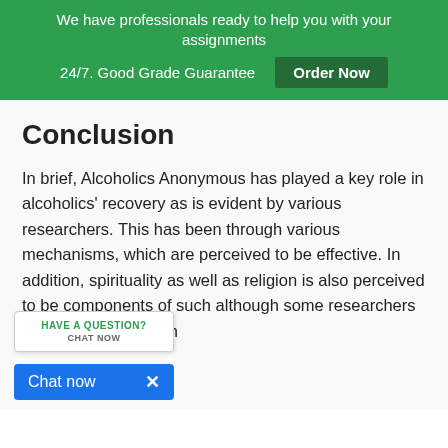We have professionals ready to help you with your assignments 24/7. Good Grade Guarantee Order Now
Conclusion
In brief, Alcoholics Anonymous has played a key role in alcoholics' recovery as is evident by various researchers. This has been through various mechanisms, which are perceived to be effective. In addition, spirituality as well as religion is also perceived to be components of such although some researchers adict there is no such
[Figure (other): Chat widget overlay with 'HAVE A QUESTION? CHAT NOW' and a 'Chat now x' blue bar at the bottom]